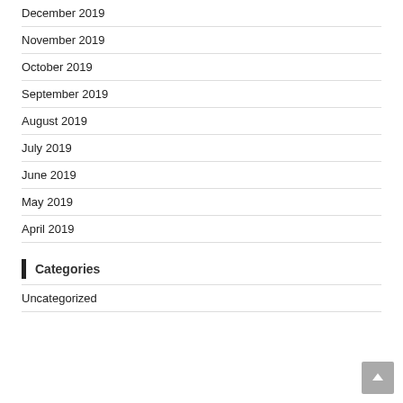December 2019
November 2019
October 2019
September 2019
August 2019
July 2019
June 2019
May 2019
April 2019
Categories
Uncategorized